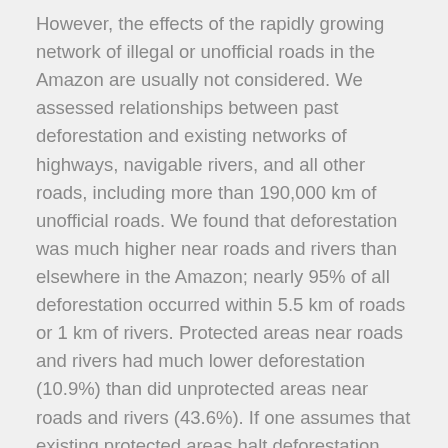However, the effects of the rapidly growing network of illegal or unofficial roads in the Amazon are usually not considered. We assessed relationships between past deforestation and existing networks of highways, navigable rivers, and all other roads, including more than 190,000 km of unofficial roads. We found that deforestation was much higher near roads and rivers than elsewhere in the Amazon; nearly 95% of all deforestation occurred within 5.5 km of roads or 1 km of rivers. Protected areas near roads and rivers had much lower deforestation (10.9%) than did unprotected areas near roads and rivers (43.6%). If one assumes that existing protected areas halt deforestation, then we estimate that 39,462 km² of expected forest clearing would have been avoided. However, if one assumes that protected areas merely displace deforestation to other locations, then we estimate that